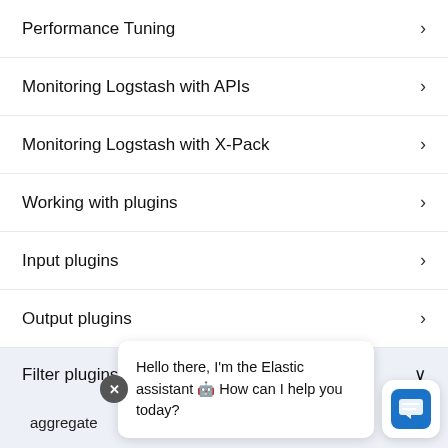Performance Tuning
Monitoring Logstash with APIs
Monitoring Logstash with X-Pack
Working with plugins
Input plugins
Output plugins
Filter plugins
aggregate
alter
bytes
cidr
Hello there, I'm the Elastic assistant 🤖 How can I help you today?